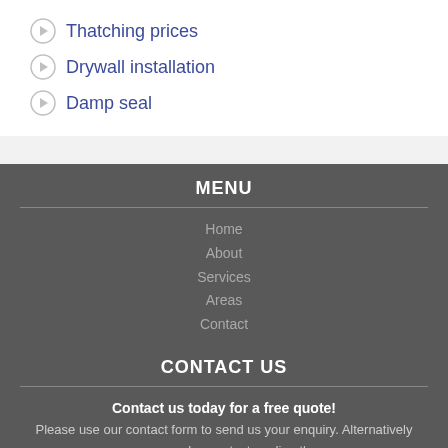Thatching prices
Drywall installation
Damp seal
MENU
Home
About
Services
Areas
Contact
CONTACT US
Contact us today for a free quote! Please use our contact form to send us your enquiry. Alternatively you can also contact us directly:
Telephone:
010 880 2783 / 010 880 2784